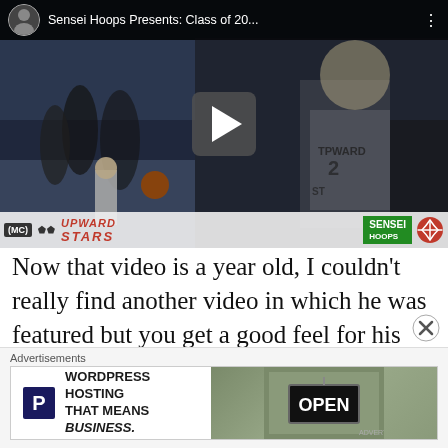[Figure (screenshot): YouTube-style video thumbnail showing basketball players in action. Title bar reads 'Sensei Hoops Presents: Class of 20...' with a play button overlay. Bottom logos include MC badge, Upward Stars logo, and Sensei Hoops badge.]
Now that video is a year old, I couldn't really find another video in which he was featured but you get a good feel for his game. He is a three level scorer though that outside shot has a fairly long trigger pull
Advertisements
[Figure (screenshot): Advertisement banner for WordPress Hosting with parking P icon on left and 'WORDPRESS HOSTING THAT MEANS BUSINESS.' text, and an OPEN sign photo on the right.]